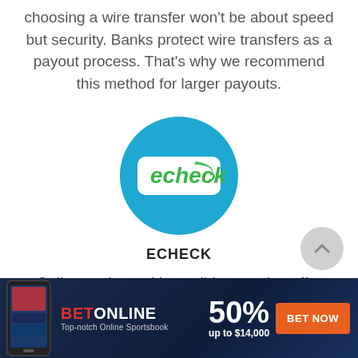choosing a wire transfer won't be about speed but security. Banks protect wire transfers as a payout process. That's why we recommend this method for larger payouts.
[Figure (logo): echeck logo: blue circle with a white rounded-rectangle badge containing the word 'echeck' in green italic text followed by a green arrow swoosh]
ECHECK
Online casinos with a solid reputation offer
[Figure (infographic): BetOnline advertisement banner: dark blue background, phone image on left, BET in red and ONLINE in white bold text, '50% up to $14,000' offer, orange 'BET NOW' button. Tagline: Top-notch Online Sportsbook.]